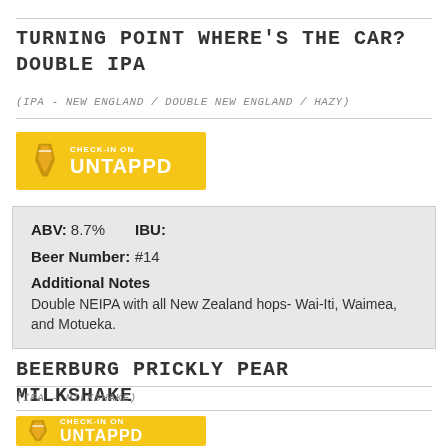TURNING POINT WHERE'S THE CAR? DOUBLE IPA
(IPA - NEW ENGLAND / DOUBLE NEW ENGLAND / HAZY)
[Figure (logo): Check-in on Untappd button - yellow background with Untappd logo and text]
ABV:  8.7%     IBU:
Beer Number:  #14
Additional Notes
Double NEIPA with all New Zealand hops- Wai-Iti, Waimea, and Motueka.
BEERBURG PRICKLY PEAR MILKSHAKE
(IPA - MILKSHAKE)
[Figure (logo): Check-in on Untappd button - yellow background with Untappd logo and text]